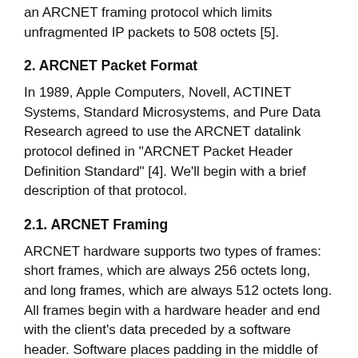an ARCNET framing protocol which limits unfragmented IP packets to 508 octets [5].
2. ARCNET Packet Format
In 1989, Apple Computers, Novell, ACTINET Systems, Standard Microsystems, and Pure Data Research agreed to use the ARCNET datalink protocol defined in "ARCNET Packet Header Definition Standard" [4]. We'll begin with a brief description of that protocol.
2.1. ARCNET Framing
ARCNET hardware supports two types of frames: short frames, which are always 256 octets long, and long frames, which are always 512 octets long. All frames begin with a hardware header and end with the client's data preceded by a software header. Software places padding in the middle of the packet between the hardware header and the software header to make the frame the appropriate fixed length. Unbeknown to the software, the hardware removes